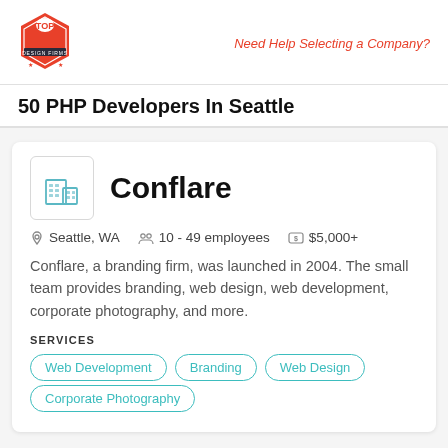Need Help Selecting a Company?
50 PHP Developers In Seattle
Conflare
Seattle, WA   10 - 49 employees   $5,000+
Conflare, a branding firm, was launched in 2004. The small team provides branding, web design, web development, corporate photography, and more.
SERVICES
Web Development
Branding
Web Design
Corporate Photography